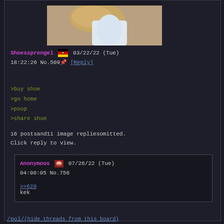[Figure (photo): Close-up photo of a shoe sole or heel placed near a toilet, partially cropped at top]
Shoessprengel 03/22/22 (Tue) 18:22:26 No.509 [Reply]
>buy shoe
>go home
>poop
>share shoe
16 postsand11 image repliesomitted. Click reply to view.
Anonymous 07/26/22 (Tue) 04:00:05 No.756
>>620
kek
/pol/(hide threads from this board)